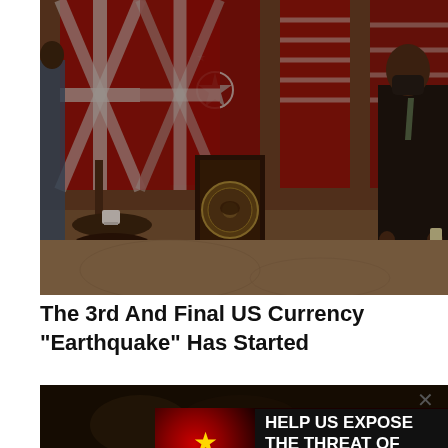[Figure (photo): Press conference scene with a presidential podium/lectern in the center, multiple national flags in the background including US, UK (Union Jack), and Australian flags. A person in a dark suit stands to the right. A small side table with items is visible to the left of the podium. The image has a dark, reddish-brown tonal quality.]
The 3rd And Final US Currency "Earthquake" Has Started
[Figure (photo): Partially visible dark photo at the bottom of the page, cropped, showing blurred figures.]
[Figure (infographic): Advertisement banner: 'HELP US EXPOSE THE THREAT OF COMMUNIST CHINA' with red background, yellow star (Chinese flag motif) on left, and a portrait of a person in suit on the right.]